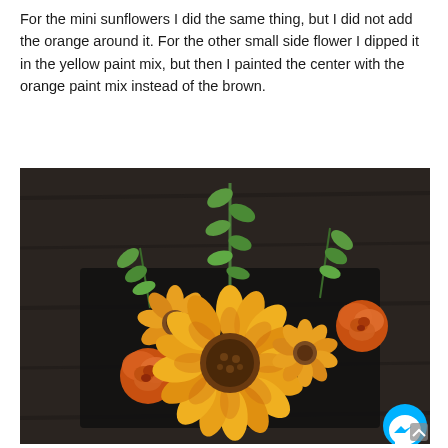For the mini sunflowers I did the same thing, but I did not add the orange around it.  For the other small side flower I dipped it in the yellow paint mix, but then I painted the center with the orange paint mix instead of the brown.
[Figure (photo): Photo of artificial orange and yellow flowers including a large sunflower, small sunflowers, orange roses, and green foliage arranged on a dark wooden surface. A Messenger chat button is visible in the bottom-right corner.]